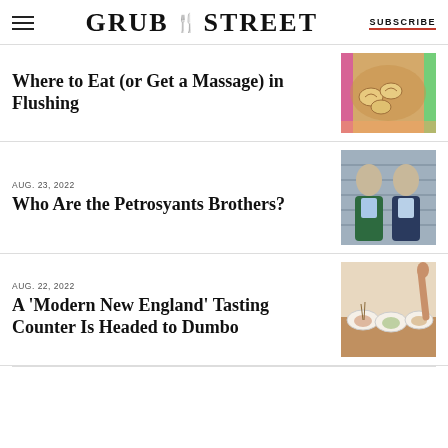GRUB STREET | SUBSCRIBE
Where to Eat (or Get a Massage) in Flushing
AUG. 23, 2022
Who Are the Petrosyants Brothers?
AUG. 22, 2022
A 'Modern New England' Tasting Counter Is Headed to Dumbo
[Figure (photo): Bowl of dumplings in broth]
[Figure (photo): Two men in suits, the Petrosyants Brothers]
[Figure (photo): Elegant plated dishes on a counter, tasting menu]